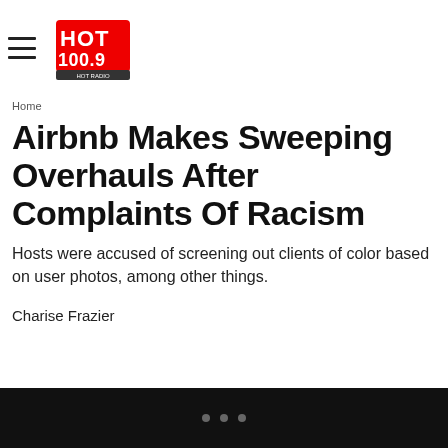HOT 100.9
Home
Airbnb Makes Sweeping Overhauls After Complaints Of Racism
Hosts were accused of screening out clients of color based on user photos, among other things.
Charise Frazier